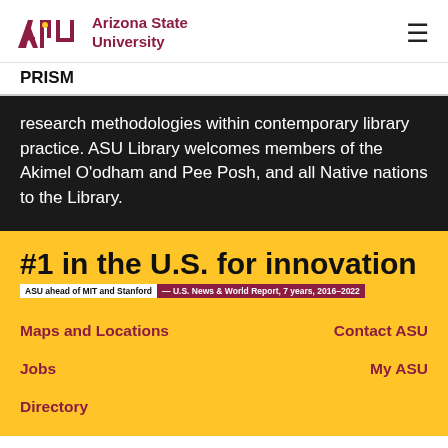Arizona State University — PRISM
research methodologies within contemporary library practice. ASU Library welcomes members of the Akimel O'odham and Pee Posh, and all Native nations to the Library.
[Figure (infographic): #1 in the U.S. for innovation — ASU ahead of MIT and Stanford — U.S. News & World Report, 7 years, 2016–2022]
Maps and Locations
Contact ASU
Jobs
My ASU
Directory